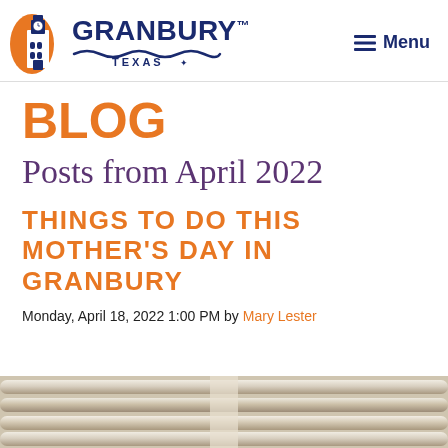GRANBURY™ TEXAS · Menu
BLOG
Posts from April 2022
THINGS TO DO THIS MOTHER'S DAY IN GRANBURY
Monday, April 18, 2022 1:00 PM by Mary Lester
[Figure (photo): Close-up photo of brass trumpet or musical instrument tubes/valves]